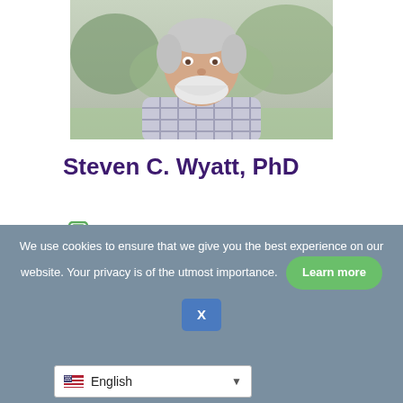[Figure (photo): Headshot photo of an older smiling man with white beard wearing a plaid shirt, outdoors background]
Steven C. Wyatt, PhD
(865) 603-2192
MESSAGE
We use cookies to ensure that we give you the best experience on our website. Your privacy is of the utmost importance.
Learn more
X
English